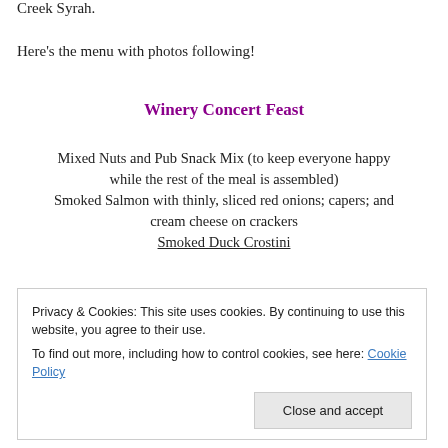Creek Syrah.
Here's the menu with photos following!
Winery Concert Feast
Mixed Nuts and Pub Snack Mix (to keep everyone happy while the rest of the meal is assembled)
Smoked Salmon with thinly, sliced red onions; capers; and cream cheese on crackers
Smoked Duck Crostini
Privacy & Cookies: This site uses cookies. By continuing to use this website, you agree to their use.
To find out more, including how to control cookies, see here: Cookie Policy